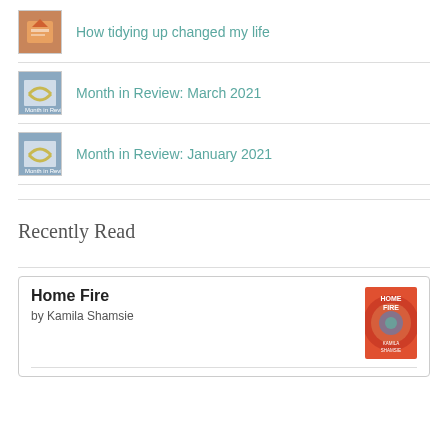How tidying up changed my life
Month in Review: March 2021
Month in Review: January 2021
Recently Read
Home Fire
by Kamila Shamsie